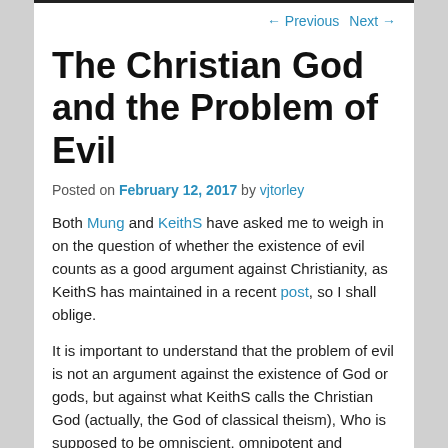← Previous   Next →
The Christian God and the Problem of Evil
Posted on February 12, 2017 by vjtorley
Both Mung and KeithS have asked me to weigh in on the question of whether the existence of evil counts as a good argument against Christianity, as KeithS has maintained in a recent post, so I shall oblige.
It is important to understand that the problem of evil is not an argument against the existence of God or gods, but against what KeithS calls the Christian God (actually, the God of classical theism), Who is supposed to be omniscient, omnipotent and omnibenevolent. KeithS